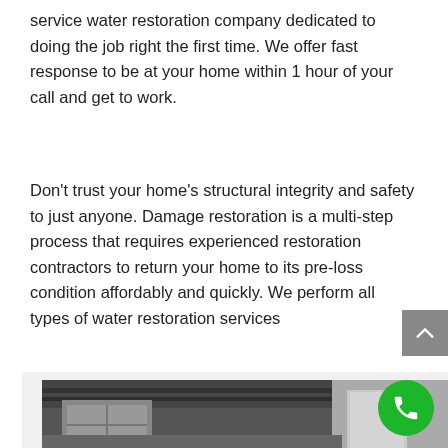service water restoration company dedicated to doing the job right the first time. We offer fast response to be at your home within 1 hour of your call and get to work.
Don't trust your home's structural integrity and safety to just anyone. Damage restoration is a multi-step process that requires experienced restoration contractors to return your home to its pre-loss condition affordably and quickly. We perform all types of water restoration services
[Figure (photo): Interior photo showing water-damaged ceiling with exposed beams and a doorway, in a dimly lit room.]